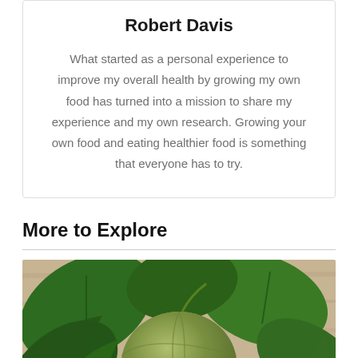Robert Davis
What started as a personal experience to improve my overall health by growing my own food has turned into a mission to share my experience and my own research. Growing your own food and eating healthier food is something that everyone has to try.
More to Explore
[Figure (photo): Photo of a melon/cantaloupe with large green leaves on a wooden surface background]